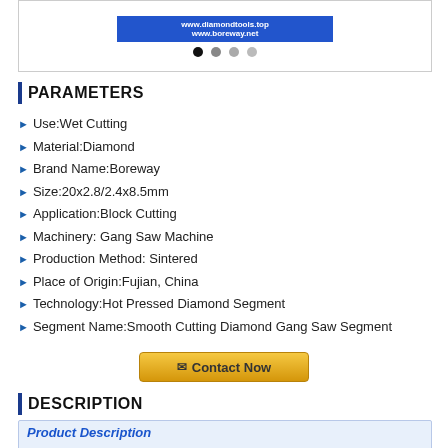[Figure (other): Product image box showing www.diamondtools.top and www.boreway.net URLs on blue background, with navigation dots below]
PARAMETERS
Use:Wet Cutting
Material:Diamond
Brand Name:Boreway
Size:20x2.8/2.4x8.5mm
Application:Block Cutting
Machinery: Gang Saw Machine
Production Method: Sintered
Place of Origin:Fujian, China
Technology:Hot Pressed Diamond Segment
Segment Name:Smooth Cutting Diamond Gang Saw Segment
[Figure (other): Contact Now button with envelope icon]
DESCRIPTION
Product Description